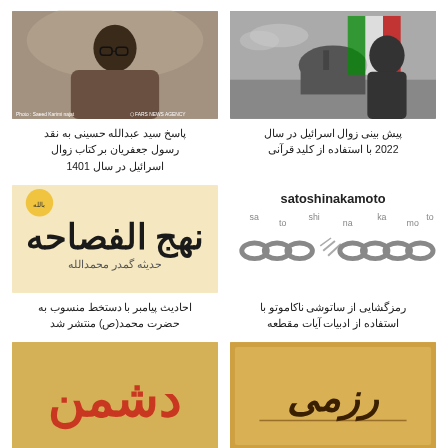[Figure (photo): Man with glasses in brownish outfit, seated]
پاسخ سید عبدالله حسینی به نقد رسول جعفریان بر کتاب زوال اسرائیل در سال 1401
[Figure (photo): Palestine flag and mosque image, black and white with color flag]
پیش بینی زوال اسرائیل در سال 2022 با استفاده از کلید قرآنی
[Figure (illustration): Arabic calligraphy on beige background - Nahj al-Fasaha]
احادیث پیامبر با دستخط منسوب به حضرت محمد(ص) منتشر شد
[Figure (illustration): satoshinakamoto text with broken chain image]
رمزگشایی از ساتوشی ناکاموتو با استفاده از ادبیات آیات مقطعه
[Figure (illustration): Red Arabic calligraphy on warm background]
[Figure (illustration): Persian calligraphy on aged paper background]